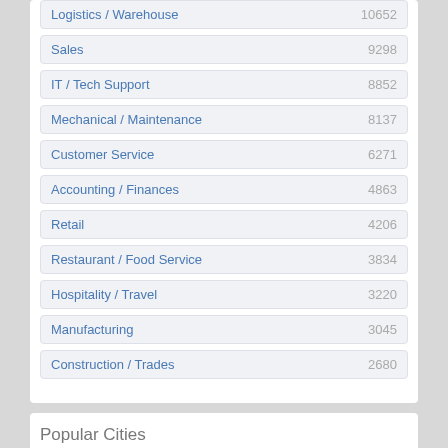Logistics / Warehouse 10652
Sales 9298
IT / Tech Support 8852
Mechanical / Maintenance 8137
Customer Service 6271
Accounting / Finances 4863
Retail 4206
Restaurant / Food Service 3834
Hospitality / Travel 3220
Manufacturing 3045
Construction / Trades 2680
Popular Cities
Los Angeles, CA 9871
San Francisco, CA 6566